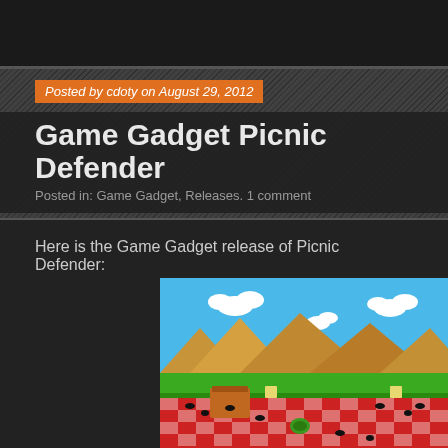Posted by cdoty on August 29, 2012
Game Gadget Picnic Defender
Posted in: Game Gadget, Releases. 1 comment
Here is the Game Gadget release of Picnic Defender:
[Figure (screenshot): Screenshot of Picnic Defender game showing a retro-style side-scrolling scene with a blue sky, tan mountains, green ground, red and white checkered picnic blanket with ants, a turtle character, bread pieces, and a picnic basket.]